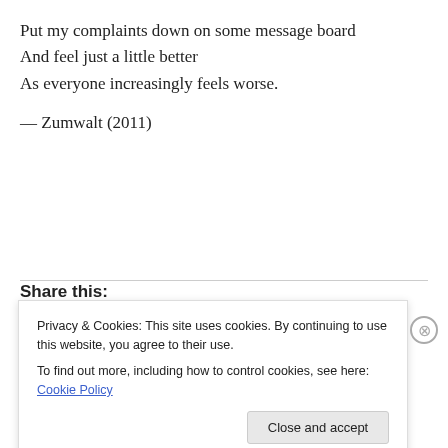Put my complaints down on some message board
And feel just a little better
As everyone increasingly feels worse.
— Zumwalt (2011)
Share this:
Privacy & Cookies: This site uses cookies. By continuing to use this website, you agree to their use.
To find out more, including how to control cookies, see here: Cookie Policy
Close and accept